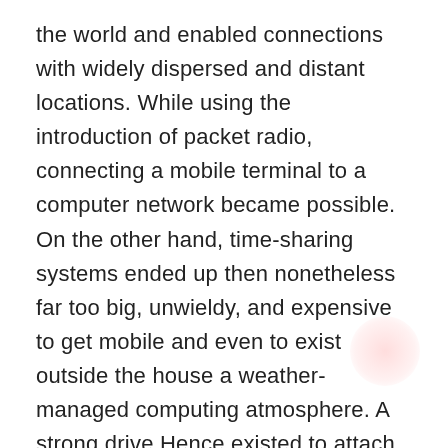the world and enabled connections with widely dispersed and distant locations. While using the introduction of packet radio, connecting a mobile terminal to a computer network became possible. On the other hand, time-sharing systems ended up then nonetheless far too big, unwieldy, and expensive to get mobile and even to exist outside the house a weather-managed computing atmosphere. A strong drive Hence existed to attach the packet radio network to ARPANET so that you can allow mobile people with straightforward terminals to accessibility some time-sharing systems for which they'd authorization. Likewise, the packet satellite network was employed by DARPA to url America with satellite terminals serving the uk, Norway, Germany, and Italy. These terminals, on the other hand, needed to be connected to other networks in European nations around the world so that you can get to the resources held on computers the community at dish the